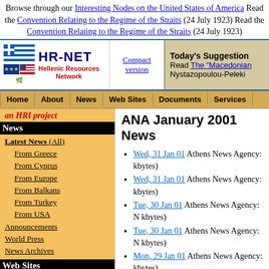Browse through our Interesting Nodes on the United States of America Read the Convention Relating to the Regime of the Straits (24 July 1923) Read the Convention Relating to the Regime of the Straits (24 July 1923)
[Figure (logo): HR-NET Hellenic Resources Network logo with Greek, EU, US, and Cyprus flags]
Compact version
Today's Suggestion Read The "Macedonian" Nystazopoulou-Peleki
Home | About | News | Web Sites | Documents | Services
an HRI project
News
Latest News (All)
From Greece
From Cyprus
From Europe
From Balkans
From Turkey
From USA
Announcements
World Press
News Archives
Web Sites
Hosted
ANA January 2001 News
Wed, 31 Jan 01 Athens News Agency: kbytes)
Wed, 31 Jan 01 Athens News Agency: kbytes)
Tue, 30 Jan 01 Athens News Agency: N kbytes)
Tue, 30 Jan 01 Athens News Agency: N kbytes)
Mon, 29 Jan 01 Athens News Agency: kbytes)
Mon, 29 Jan 01 Athens News Agency: kbytes)